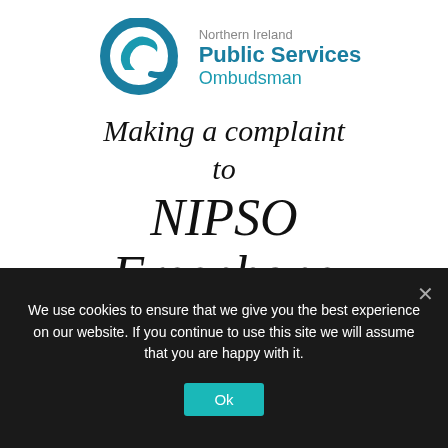[Figure (logo): Northern Ireland Public Services Ombudsman logo: teal circular swoosh icon with text 'Northern Ireland Public Services Ombudsman']
Making a complaint to NIPSO Freephone
We use cookies to ensure that we give you the best experience on our website. If you continue to use this site we will assume that you are happy with it.